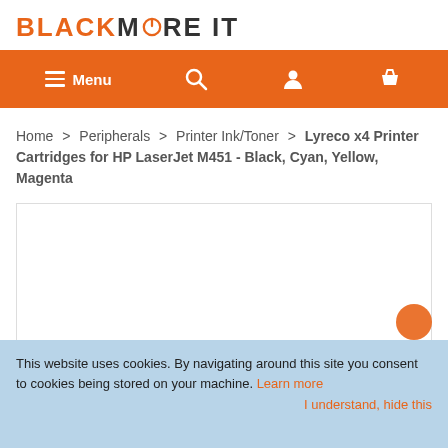BLACKMORE IT
[Figure (screenshot): Navigation bar with hamburger Menu icon, search icon, user icon, and basket icon on orange background]
Home > Peripherals > Printer Ink/Toner > Lyreco x4 Printer Cartridges for HP LaserJet M451 - Black, Cyan, Yellow, Magenta
[Figure (photo): Product image area - blank white box with border]
This website uses cookies. By navigating around this site you consent to cookies being stored on your machine. Learn more
I understand, hide this